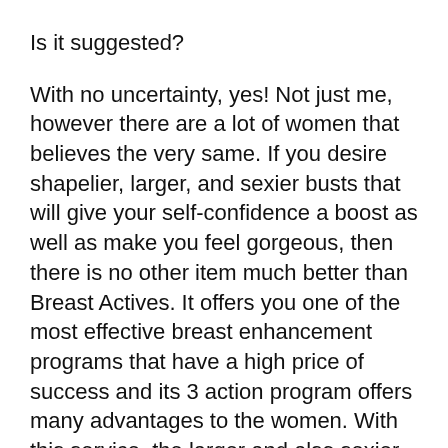Is it suggested?
With no uncertainty, yes! Not just me, however there are a lot of women that believes the very same. If you desire shapelier, larger, and sexier busts that will give your self-confidence a boost as well as make you feel gorgeous, then there is no other item much better than Breast Actives. It offers you one of the most effective breast enhancement programs that have a high price of success and its 3 action program offers many advantages to the women. With this service, the larger and also sexier busts don’t need to be a dream.
Instructions to make use of